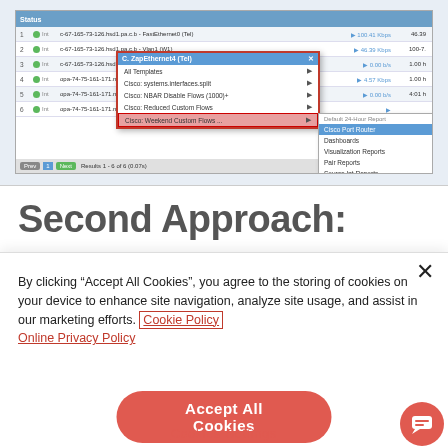[Figure (screenshot): Screenshot of a network monitoring application showing a table with 6 rows of network flow data (hosts, instances, data rates) and an open dropdown menu showing 'Custom Flows' options with a submenu listing various jitter report types. The dropdown has a red border highlight.]
Second Approach:
By clicking “Accept All Cookies”, you agree to the storing of cookies on your device to enhance site navigation, analyze site usage, and assist in our marketing efforts. Cookie Policy Online Privacy Policy
Accept All Cookies
Cookies Settings